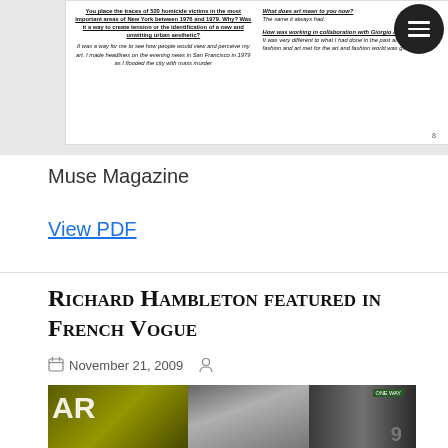[Figure (photo): Magazine page preview showing interview text in two columns with questions in bold underline italic and answers in italic. Page number 8 at bottom right.]
Muse Magazine
View PDF
Richard Hambleton featured in French Vogue
November 21, 2009
[Figure (photo): Partial photograph showing yellow/black street art on left, grey urban wall in center, and dark street scene on right. Letters AR visible on left edge.]